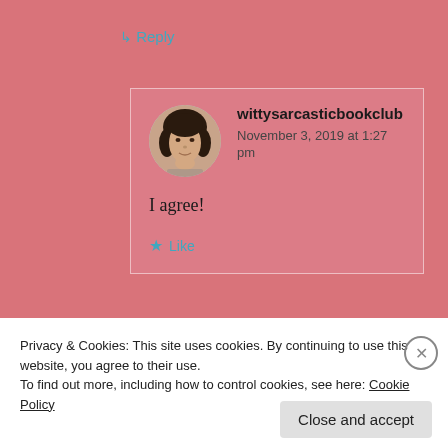↳ Reply
wittysarcasticbookclub
November 3, 2019 at 1:27 pm
I agree!
★ Like
Privacy & Cookies: This site uses cookies. By continuing to use this website, you agree to their use.
To find out more, including how to control cookies, see here: Cookie Policy
Close and accept